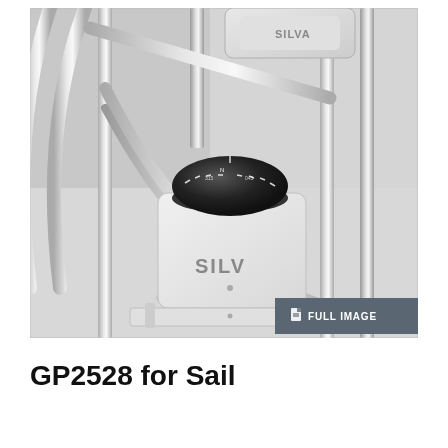[Figure (photo): Close-up photo of a Silva GP2528 marine compass mounted on stainless steel brackets on a sailboat. The compass is white with a black dome and shows compass markings. The Silva brand name is visible on the white body. A 'FULL IMAGE' button/badge is visible in the lower right corner of the photo.]
GP2528 for Sail